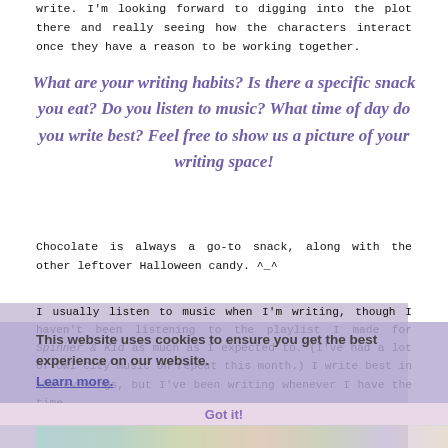write. I'm looking forward to digging into the plot there and really seeing how the characters interact once they have a reason to be working together.
What are your writing habits? Is there a specific snack you eat? Do you listen to music? What time of day do you write best? Feel free to show us a picture of your writing space!
Chocolate is always a go-to snack, along with the other leftover Halloween candy. ^_^
I usually listen to music when I'm writing, though I haven't been listening to the playlist I made for Spinner & Kid as much as I expected to. (I've had a lot of Owl City music on repeat this month.) I write best in the evenings, but I've been writing whenever I have the time.
This website uses cookies to ensure you get the best experience on our website. Learn more.
Got it!
[Figure (photo): Colorful image strip at the bottom of the page, appears to be a partially visible photograph with green, teal, and pastel tones.]